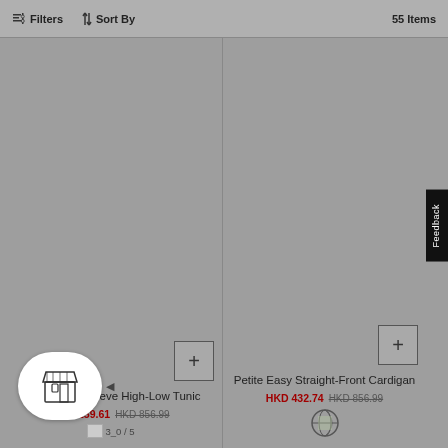Filters  Sort By  55 Items
[Figure (screenshot): Product listing page showing two items: Petite Long Sleeve High-Low Tunic and Petite Easy Straight-Front Cardigan with sale prices in HKD]
Petite Long Sleeve High-Low Tunic
HKD 259.61  HKD 856.99
3_0 / 5
Petite Easy Straight-Front Cardigan
HKD 432.74  HKD 856.99
[Figure (logo): Store widget icon at bottom left]
Feedback